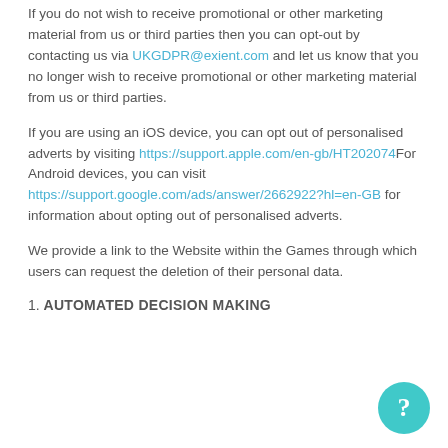If you do not wish to receive promotional or other marketing material from us or third parties then you can opt-out by contacting us via UKGDPR@exient.com and let us know that you no longer wish to receive promotional or other marketing material from us or third parties.
If you are using an iOS device, you can opt out of personalised adverts by visiting https://support.apple.com/en-gb/HT202074For Android devices, you can visit https://support.google.com/ads/answer/2662922?hl=en-GB for information about opting out of personalised adverts.
We provide a link to the Website within the Games through which users can request the deletion of their personal data.
1. AUTOMATED DECISION MAKING